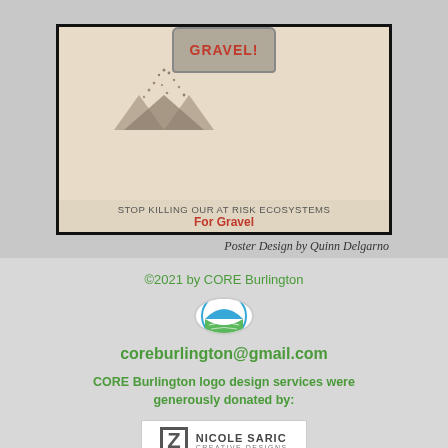[Figure (illustration): Poster showing a gravel can spilling gravel with text 'STOP KILLING OUR AT RISK ECOSYSTEMS FOR GRAVEL']
Poster Design by Quinn Delgarno
©2021 by CORE Burlington
[Figure (logo): CORE Burlington circular logo with green farm fields and blue sky]
coreburlington@gmail.com
CORE Burlington logo design services were generously donated by:
[Figure (logo): Nicole Saric Creative Designs logo with stylized Z]